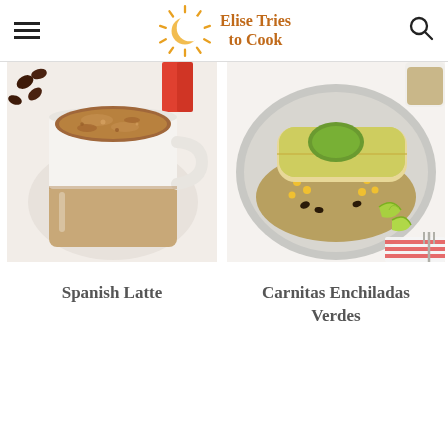Elise Tries to Cook
[Figure (photo): A white and tan ceramic mug filled with a Spanish latte coffee drink, with coffee beans in the background on a white marble surface.]
[Figure (photo): A plate with carnitas enchiladas verdes topped with green sauce and guacamole, garnished with lime wedges, on a white marble surface with a red striped napkin.]
Spanish Latte
Carnitas Enchiladas Verdes